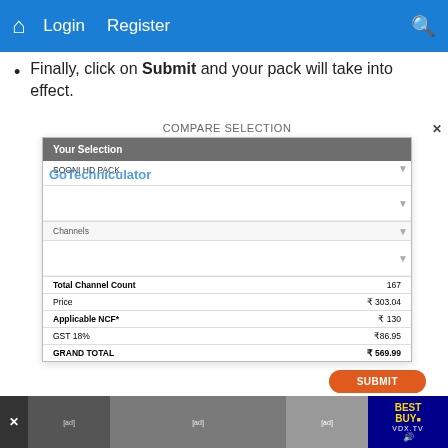Login  Register
Finally, click on Submit and your pack will take into effect.
[Figure (screenshot): Compare Selection modal dialog showing 'Your Selection' with HD Pack, Channels section, and a summary table with Total Channel Count: 167, Price: ₹303.04, Applicable NCF*: ₹130, GST 18%: ₹86.95, GRAND TOTAL: ₹569.99, and a SUBMIT button. Below is a footnote about Network Capacity Fee (NCF).]
[Figure (screenshot): Bottom advertisement bar showing Best Buy and VDX.TV branding]